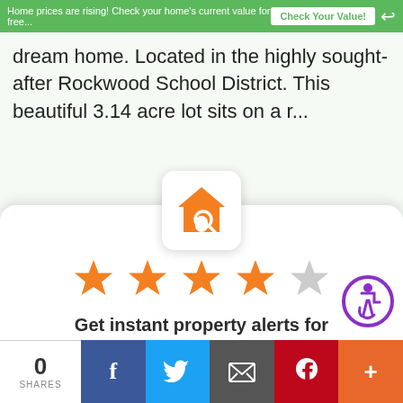Home prices are rising! Check your home's current value for free...   Check Your Value!
dream home. Located in the highly sought-after Rockwood School District. This beautiful 3.14 acre lot sits on a r...
[Figure (logo): Orange house with magnifying glass search icon on white rounded square background]
[Figure (other): 4 out of 5 orange stars rating]
[Figure (other): Purple circle accessibility icon with wheelchair user]
Get instant property alerts for www.lindasellslistings.com
Get the MoveTo App
Not Now
0 SHARES  [Facebook] [Twitter] [Email] [Pinterest] [More]